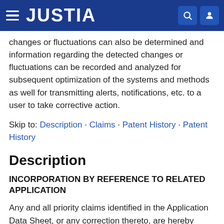JUSTIA
changes or fluctuations can also be determined and information regarding the detected changes or fluctuations can be recorded and analyzed for subsequent optimization of the systems and methods as well for transmitting alerts, notifications, etc. to a user to take corrective action.
Skip to: Description · Claims · Patent History · Patent History
Description
INCORPORATION BY REFERENCE TO RELATED APPLICATION
Any and all priority claims identified in the Application Data Sheet, or any correction thereto, are hereby incorporated by reference under 37 CFR 1.57. This